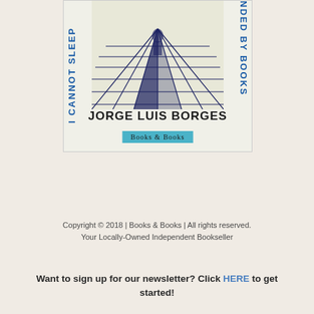[Figure (photo): Photograph of a book cover. The book is 'I Cannot Sleep Unless I Am Surrounded By Books' by Jorge Luis Borges. The cover features a dark navy blue woodcut-style illustration of converging bookshelves or train tracks. The title text appears vertically on the left and right sides in blue. The author name 'JORGE LUIS BORGES' appears at the bottom in bold black. A teal/cyan 'Books & Books' sticker/label is affixed to the cover.]
Copyright © 2018 | Books & Books | All rights reserved.
Your Locally-Owned Independent Bookseller
Want to sign up for our newsletter? Click HERE to get started!